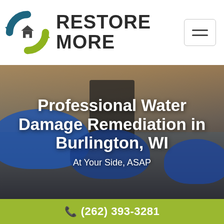[Figure (logo): Restore More company logo with circular arrow icon containing a house, and bold text RESTORE MORE]
Professional Water Damage Remediation in Burlington, WI
At Your Side, ASAP
[Figure (photo): Background photo of water damage remediation equipment (blue air movers/fans) in a flooded room with wood flooring and stairs]
(262) 393-3281